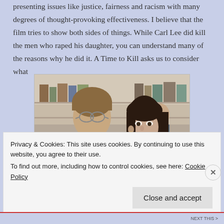presenting issues like justice, fairness and racism with many degrees of thought-provoking effectiveness. I believe that the film tries to show both sides of things. While Carl Lee did kill the men who raped his daughter, you can understand many of the reasons why he did it. A Time to Kill asks us to consider what
[Figure (photo): A man in a suit with glasses and a woman with dark hair, appearing to be in a courtroom or formal setting, from the film A Time to Kill.]
Privacy & Cookies: This site uses cookies. By continuing to use this website, you agree to their use. To find out more, including how to control cookies, see here: Cookie Policy
Close and accept